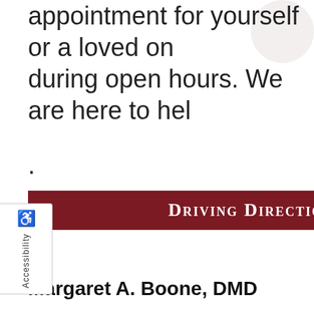appointment for yourself or a loved one during open hours. We are here to help.
Driving Directions
Accessibility
Margaret A. Boone, DMD